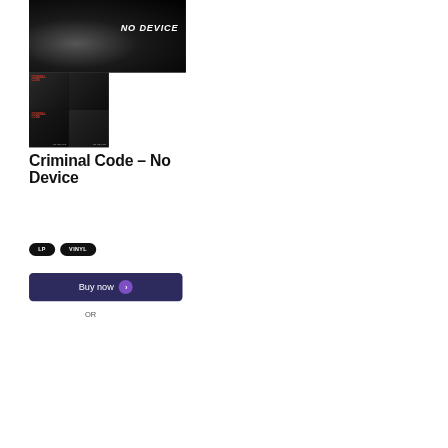[Figure (photo): Dark grainy album cover photo with 'NO DEVICE' text in white italic bold font on the right side. Black and dark grey tones with smoky texture.]
[Figure (photo): Four thumbnail grid of album artwork for Criminal Code - No Device vinyl LP. Dark grey/black images with 'CRIMINAL CODE' in red text and 'NO DEVICE' in small white text at bottom.]
Criminal Code – No Device
LP
VINYL
Buy now